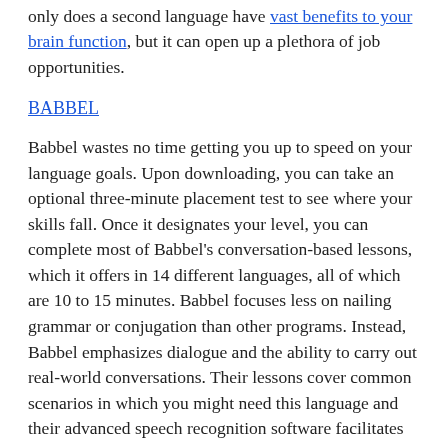only does a second language have vast benefits to your brain function, but it can open up a plethora of job opportunities.
BABBEL
Babbel wastes no time getting you up to speed on your language goals. Upon downloading, you can take an optional three-minute placement test to see where your skills fall. Once it designates your level, you can complete most of Babbel's conversation-based lessons, which it offers in 14 different languages, all of which are 10 to 15 minutes. Babbel focuses less on nailing grammar or conjugation than other programs. Instead, Babbel emphasizes dialogue and the ability to carry out real-world conversations. Their lessons cover common scenarios in which you might need this language and their advanced speech recognition software facilitates this practical focus (you won't have to repeat yourself all the time).
You can test out the first lesson of every course for free, but there are a few different subscription options worth considering. The three-month subscription costs $26.85, or about $8.95 per month, and the 12-month subscription costs $83.40 (about $1.95 per month).